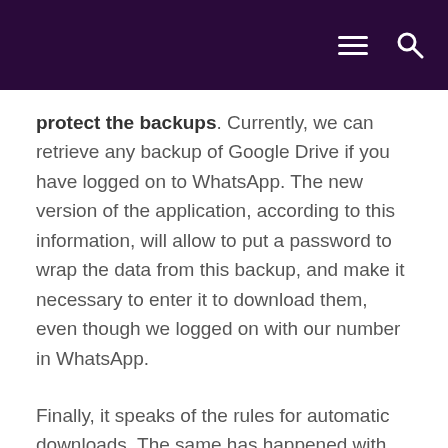protect the backups. Currently, we can retrieve any backup of Google Drive if you have logged on to WhatsApp. The new version of the application, according to this information, will allow to put a password to wrap the data from this backup, and make it necessary to enter it to download them, even though we logged on with our number in WhatsApp.
Finally, it speaks of the rules for automatic downloads. The same has happened with the forwarding of messages, this function would be